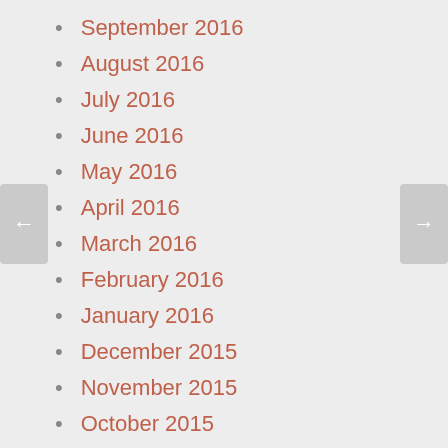September 2016
August 2016
July 2016
June 2016
May 2016
April 2016
March 2016
February 2016
January 2016
December 2015
November 2015
October 2015
September 2015
August 2015
July 2015
June 2015
May 2015